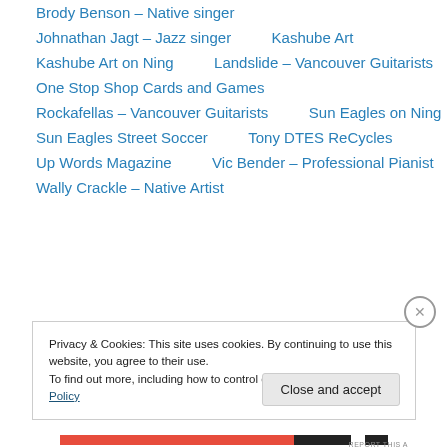Brody Benson – Native singer
Johnathan Jagt – Jazz singer
Kashube Art
Kashube Art on Ning
Landslide – Vancouver Guitarists
One Stop Shop Cards and Games
Rockafellas – Vancouver Guitarists
Sun Eagles on Ning
Sun Eagles Street Soccer
Tony DTES ReCycles
Up Words Magazine
Vic Bender – Professional Pianist
Wally Crackle – Native Artist
Privacy & Cookies: This site uses cookies. By continuing to use this website, you agree to their use. To find out more, including how to control cookies, see here: Cookie Policy
Close and accept